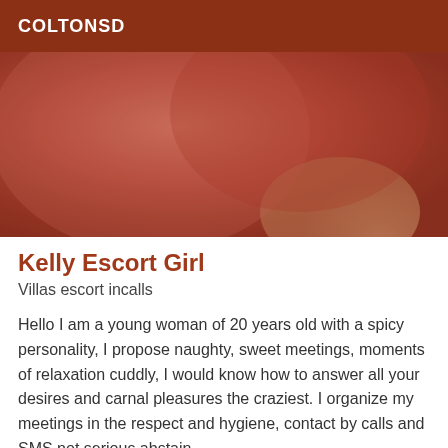COLTONSD
[Figure (photo): Close-up photo of skin tones, reddish-brown warm tones]
Kelly Escort Girl
Villas escort incalls
Hello I am a young woman of 20 years old with a spicy personality, I propose naughty, sweet meetings, moments of relaxation cuddly, I would know how to answer all your desires and carnal pleasures the craziest. I organize my meetings in the respect and hygiene, contact by calls and SMS not serious abstain
[Figure (photo): Photo with warm beige/cream tones, partially visible, with a Verified badge overlay]